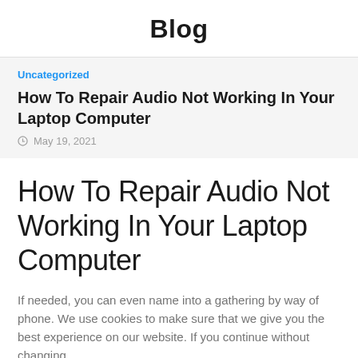Blog
Uncategorized
How To Repair Audio Not Working In Your Laptop Computer
May 19, 2021
How To Repair Audio Not Working In Your Laptop Computer
If needed, you can even name into a gathering by way of phone. We use cookies to make sure that we give you the best experience on our website. If you continue without changing